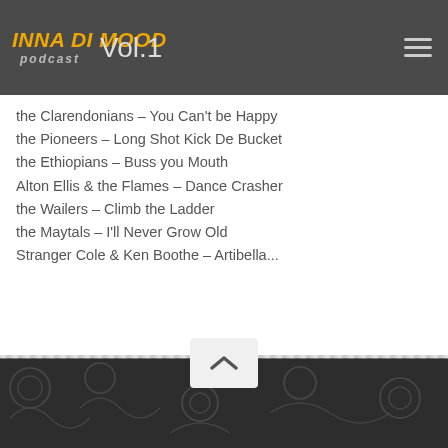INNA DI MOOD podcast — SKA & ROCKSTEADY Vol.1
the Clarendonians – You Can't be Happy
the Pioneers – Long Shot Kick De Bucket
the Ethiopians – Buss you Mouth
Alton Ellis & the Flames – Dance Crasher
the Wailers – Climb the Ladder
the Maytals – I'll Never Grow Old
Stranger Cole & Ken Boothe – Artibella...